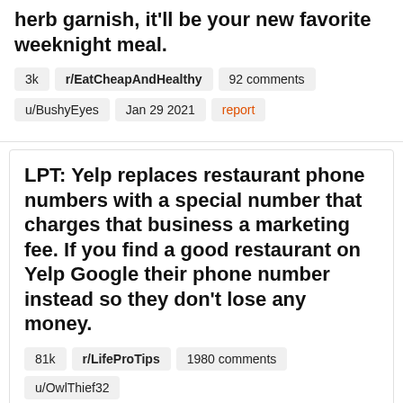herb garnish, it'll be your new favorite weeknight meal.
3k | r/EatCheapAndHealthy | 92 comments
u/BushyEyes | Jan 29 2021 | report
LPT: Yelp replaces restaurant phone numbers with a special number that charges that business a marketing fee. If you find a good restaurant on Yelp Google their phone number instead so they don't lose any money.
81k | r/LifeProTips | 1980 comments | u/OwlThief32
Nov 15 2020 | report
Biden replaces controversial White House physician cnn.com/2021/01/25/politi...